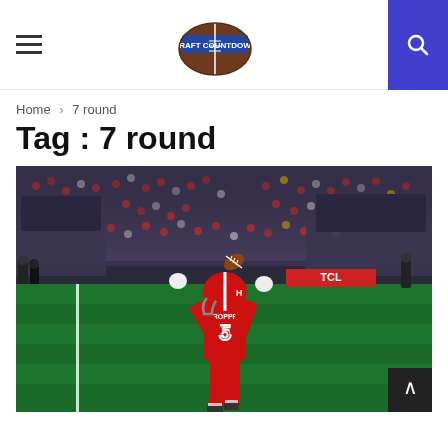Draft Countdown
Home > 7 round
Tag : 7 round
[Figure (photo): Football player wearing red uniform number 5 (CROPPER) catching a ball in an end zone, crowd in background, TCL advertisement visible]